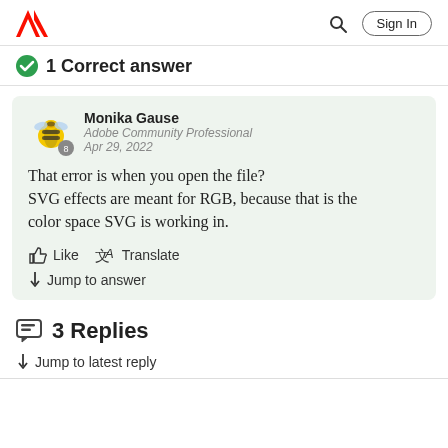Adobe | Sign In
1 Correct answer
Monika Gause
Adobe Community Professional
Apr 29, 2022
That error is when you open the file?
SVG effects are meant for RGB, because that is the color space SVG is working in.
Like   Translate
Jump to answer
3 Replies
Jump to latest reply